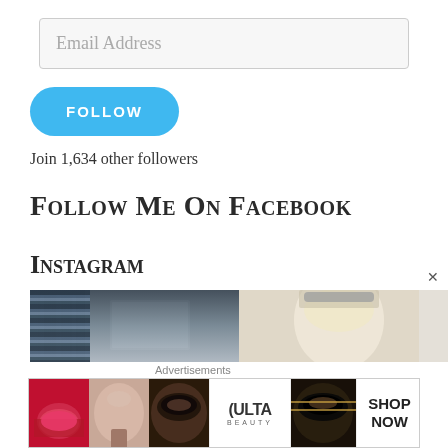Email Address
FOLLOW
Join 1,634 other followers
Follow Me On Facebook
Instagram
[Figure (photo): Two Instagram photos side by side: left shows a bookshelf and a reflective surface, right shows a blonde woman with sunglasses on her head]
Advertisements
[Figure (infographic): Ulta Beauty advertisement banner showing makeup images and SHOP NOW text]